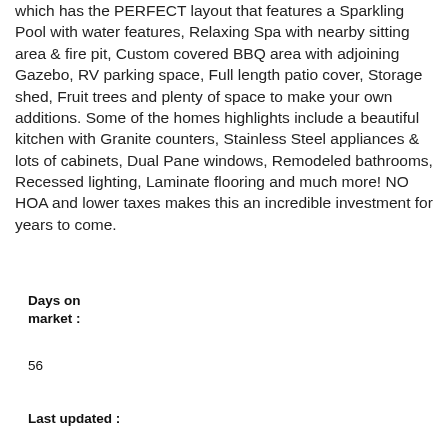which has the PERFECT layout that features a Sparkling Pool with water features, Relaxing Spa with nearby sitting area & fire pit, Custom covered BBQ area with adjoining Gazebo, RV parking space, Full length patio cover, Storage shed, Fruit trees and plenty of space to make your own additions. Some of the homes highlights include a beautiful kitchen with Granite counters, Stainless Steel appliances & lots of cabinets, Dual Pane windows, Remodeled bathrooms, Recessed lighting, Laminate flooring and much more! NO HOA and lower taxes makes this an incredible investment for years to come.
Days on market :
56
Last updated :